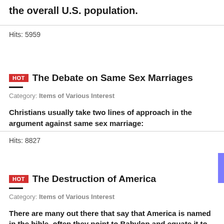the overall U.S. population.
Hits: 5959
HOT  The Debate on Same Sex Marriages
Category: Items of Various Interest
Christians usually take two lines of approach in the argument against same sex marriage:
Hits: 8827
HOT  The Destruction of America
Category: Items of Various Interest
There are many out there that say that America is named in the bible, often they point to Babylon and equate it to New York or Washington DC